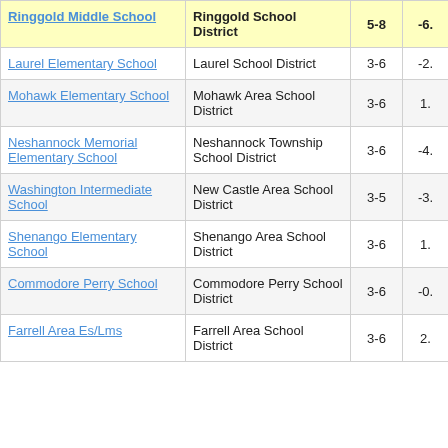| School | District | Grades | Score |
| --- | --- | --- | --- |
| Ringgold Middle School | Ringgold School District | 5-8 | -6. |
| Laurel Elementary School | Laurel School District | 3-6 | -2. |
| Mohawk Elementary School | Mohawk Area School District | 3-6 | 1. |
| Neshannock Memorial Elementary School | Neshannock Township School District | 3-6 | -4. |
| Washington Intermediate School | New Castle Area School District | 3-5 | -3. |
| Shenango Elementary School | Shenango Area School District | 3-6 | 1. |
| Commodore Perry School | Commodore Perry School District | 3-6 | -0. |
| Farrell Area Es/Lms | Farrell Area School District | 3-6 | 2. |